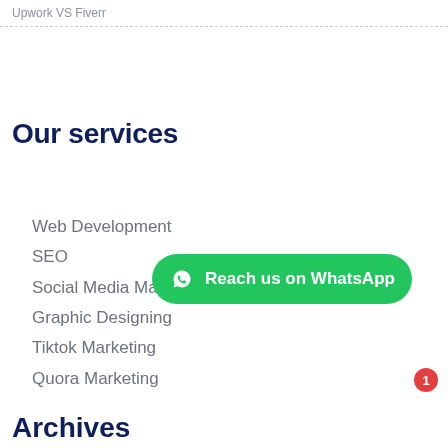Upwork VS Fiverr
Our services
Web Development
SEO
Social Media Marketing
Graphic Designing
Tiktok Marketing
Quora Marketing
Reach us on WhatsApp
Archives